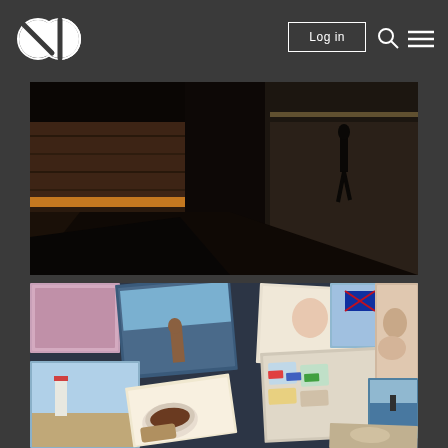Navigation bar with logo, Log in button, search icon, and menu icon
[Figure (photo): Dark moody street photography showing a person walking through an underpass or covered walkway with dramatic shadows, warm orange accent light on wooden wall panels]
[Figure (photo): Collage of multiple overlapping photographs scattered at angles: people, a baby, lighthouse, tea cup with food, Tupperware containers, British flag bunting, train tracks, coastal scenes, outdoor gatherings]